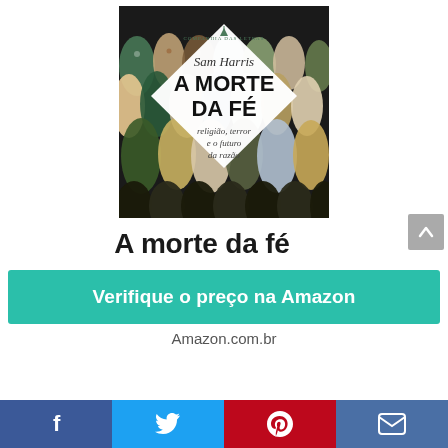[Figure (photo): Book cover of 'A Morte da Fé' by Sam Harris. Background shows a crowd of people in colorful patterned robes viewed from above. A white diamond shape in the center contains the publisher logo at top, author name 'Sam Harris' in italic serif, title 'A MORTE DA FÉ' in large bold black letters, and subtitle 'religião, terror e o futuro da razão' in smaller italic text.]
A morte da fé
Verifique o preço na Amazon
Amazon.com.br